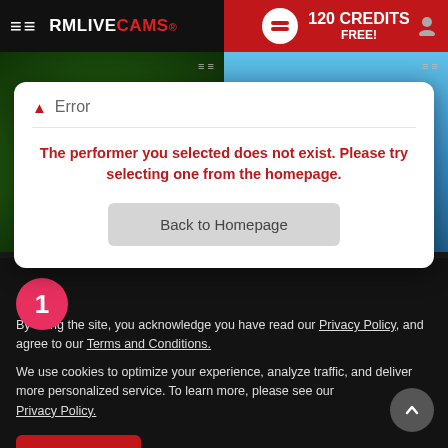[Figure (screenshot): RMLiveCams website header with logo, hamburger menu, and 120 Credits Free promotional banner in red]
[Figure (photo): Two shirtless male performers displayed in split thumbnail view, left with green background, right outdoors with blue sky]
Error
The performer you selected does not exist. Please try selecting one from the homepage.
Back to Homepage
By using the site, you acknowledge you have read our Privacy Policy, and agree to our Terms and Conditions.
We use cookies to optimize your experience, analyze traffic, and deliver more personalized service. To learn more, please see our Privacy Policy.
I AGREE